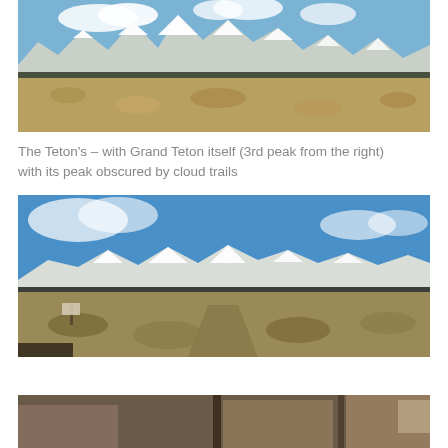[Figure (photo): Panoramic photo of the Teton mountain range with snow-capped peaks against a blue sky, with brown sagebrush flatlands in the foreground.]
The Teton's – with Grand Teton itself (3rd peak from the right) with its peak obscured by cloud trails
[Figure (photo): Wide panoramic photo of the Teton mountain range taken from ground level showing a large blue sky, snow-capped mountains in the distance, sagebrush flatlands, a trail sign on the left, and a path in the foreground.]
[Figure (photo): Partial view of a photograph showing what appears to be an indoor or close-up scene, partially cropped at the bottom of the page.]